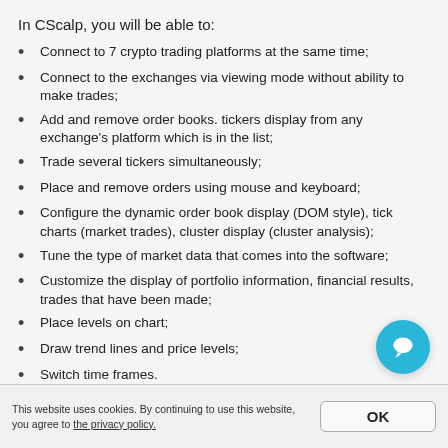In CScalp, you will be able to:
Connect to 7 crypto trading platforms at the same time;
Connect to the exchanges via viewing mode without ability to make trades;
Add and remove order books. tickers display from any exchange's platform which is in the list;
Trade several tickers simultaneously;
Place and remove orders using mouse and keyboard;
Configure the dynamic order book display (DOM style), tick charts (market trades), cluster display (cluster analysis);
Tune the type of market data that comes into the software;
Customize the display of portfolio information, financial results, trades that have been made;
Place levels on chart;
Draw trend lines and price levels;
Switch time frames.
[Figure (other): Blue circular chat/support button with speech bubble icon]
This website uses cookies. By continuing to use this website, you agree to the privacy policy.